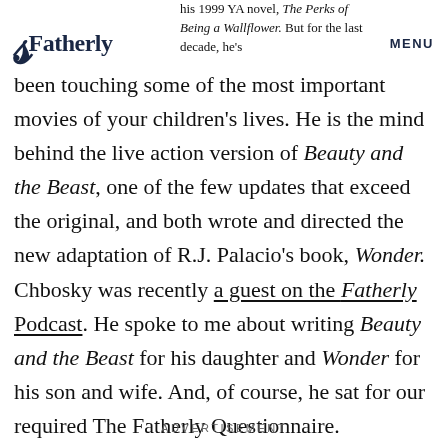Fatherly  MENU  his 1999 YA novel, The Perks of Being a Wallflower. But for the last decade, he's
been touching some of the most important movies of your children's lives. He is the mind behind the live action version of Beauty and the Beast, one of the few updates that exceed the original, and both wrote and directed the new adaptation of R.J. Palacio's book, Wonder. Chbosky was recently a guest on the Fatherly Podcast. He spoke to me about writing Beauty and the Beast for his daughter and Wonder for his son and wife. And, of course, he sat for our required The Fatherly Questionnaire.
ADVERTISEMENT